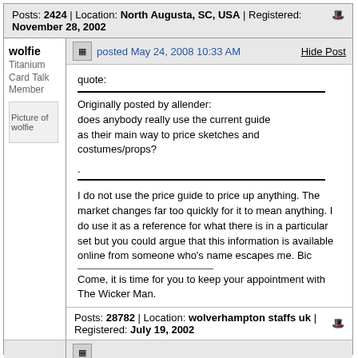Posts: 2424 | Location: North Augusta, SC, USA | Registered: November 28, 2002
posted May 24, 2008 10:33 AM
wolfie
Titanium Card Talk Member
[Figure (photo): Avatar picture of wolfie]
quote:
Originally posted by allender:
does anybody really use the current guide as their main way to price sketches and costumes/props?
.
I do not use the price guide to price up anything. The market changes far too quickly for it to mean anything. I do use it as a reference for what there is in a particular set but you could argue that this information is available online from someone who's name escapes me. Bic
Come, it is time for you to keep your appointment with The Wicker Man.
Posts: 28782 | Location: wolverhampton staffs uk | Registered: July 19, 2002